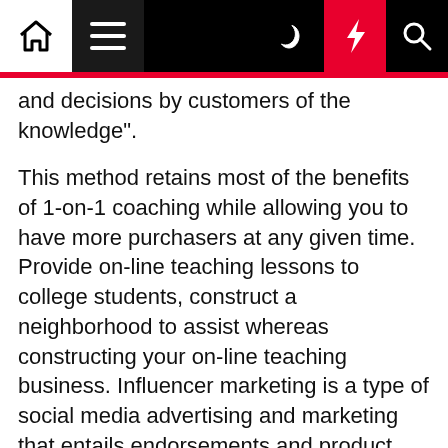[Navigation bar with home, menu, moon, lightning, and search icons]
and decisions by customers of the knowledge".
This method retains most of the benefits of 1-on-1 coaching while allowing you to have more purchasers at any given time. Provide on-line teaching lessons to college students, construct a neighborhood to assist whereas constructing your on-line teaching business. Influencer marketing is a type of social media advertising and marketing that entails endorsements and product placements from influencers.
Issue of cash, in the form of banknotes and current accounts subject to cheque or payment at the buyer's order. Philadelphia police are investigating a taking pictures that left a 17-yr-previous girl injured within the city's Port Richmond part on Sunday